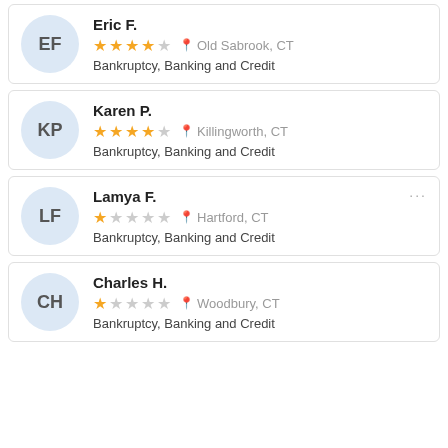Eric F. | 4 stars | Old Sabrook, CT | Bankruptcy, Banking and Credit
Karen P. | 4 stars | Killingworth, CT | Bankruptcy, Banking and Credit
Lamya F. | 1 star | Hartford, CT | Bankruptcy, Banking and Credit
Charles H. | 1 star | Woodbury, CT | Bankruptcy, Banking and Credit